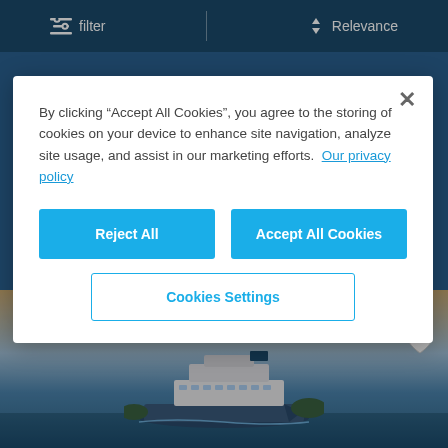filter   Relevance
[Figure (screenshot): Cookie consent modal overlay on a cruise website showing Reject All and Accept All Cookies buttons, and a Cookies Settings button, with DREAMAWAY PACKAGE cruise ship banner in the background]
By clicking “Accept All Cookies”, you agree to the storing of cookies on your device to enhance site navigation, analyze site usage, and assist in our marketing efforts.
Our privacy policy